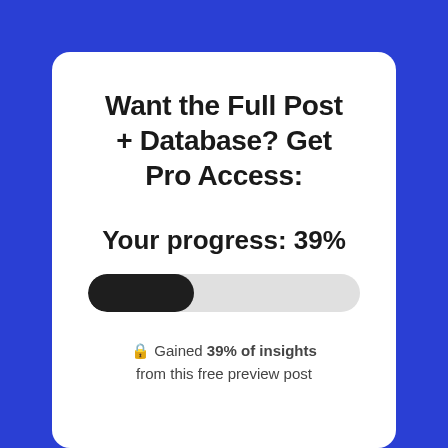Want the Full Post + Database? Get Pro Access:
Your progress: 39%
[Figure (other): A horizontal progress bar showing 39% completion. The filled portion is dark/black covering approximately 39% from the left, and the remainder is light gray, with fully rounded ends.]
🔒 Gained 39% of insights from this free preview post